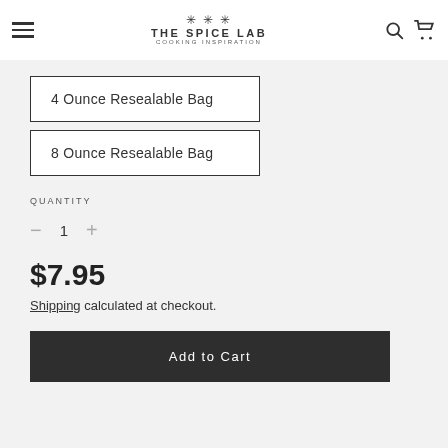THE SPICE LAB COOKING INSPIRATION
4 Ounce Resealable Bag
8 Ounce Resealable Bag
QUANTITY
− 1 +
$7.95
Shipping calculated at checkout.
Add to Cart